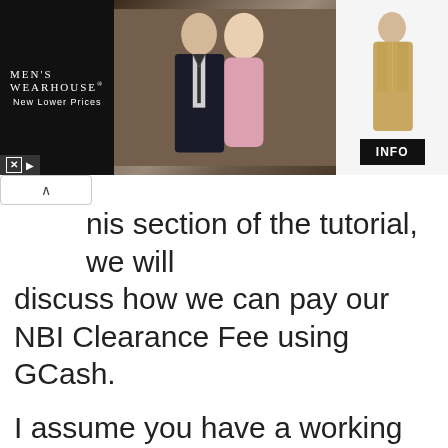[Figure (screenshot): Men's Wearhouse advertisement banner showing a couple in formal wear and a man in a tan suit, with INFO button and ad controls]
nis section of the tutorial, we will discuss how we can pay our NBI Clearance Fee using GCash.
I assume you have a working GCash app installed in your mobile phones. So let's get started.
First, this st...